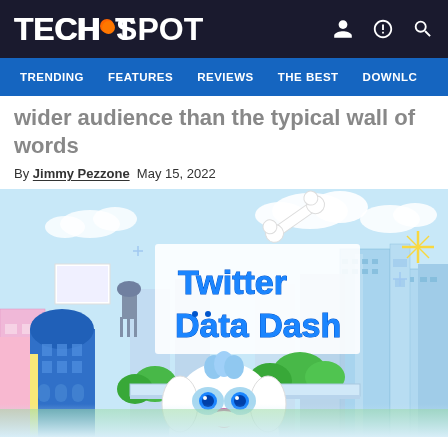TECHSPOT
TRENDING   FEATURES   REVIEWS   THE BEST   DOWNLO
wider audience than the typical wall of words
By Jimmy Pezzone  May 15, 2022
[Figure (illustration): Twitter Data Dash game screenshot showing a cartoon dog character in a colorful cityscape with the title 'Twitter Data Dash' and a Start button on a bone-shaped platform]